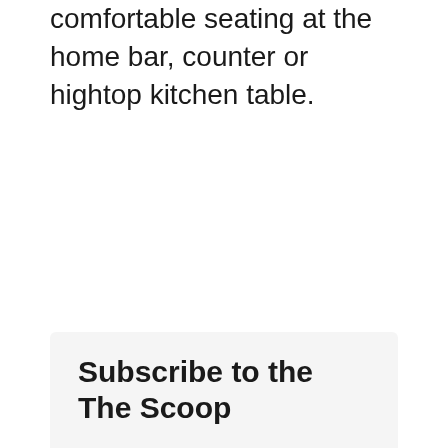comfortable seating at the home bar, counter or hightop kitchen table.
Subscribe to the The Scoop